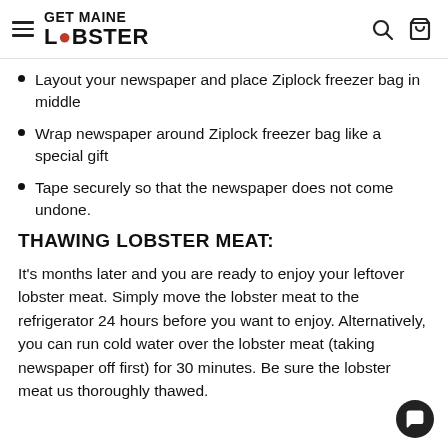GET MAINE LOBSTER
Layout your newspaper and place Ziplock freezer bag in middle
Wrap newspaper around Ziplock freezer bag like a special gift
Tape securely so that the newspaper does not come undone.
THAWING LOBSTER MEAT:
It's months later and you are ready to enjoy your leftover lobster meat. Simply move the lobster meat to the refrigerator 24 hours before you want to enjoy. Alternatively, you can run cold water over the lobster meat (taking newspaper off first) for 30 minutes. Be sure the lobster meat us thoroughly thawed.